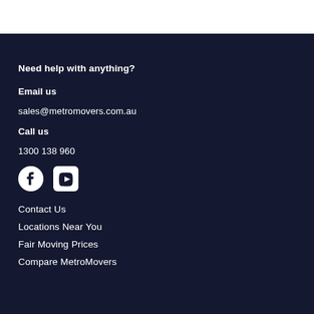Need help with anything?
Email us
sales@metromovers.com.au
Call us
1300 138 960
[Figure (illustration): Facebook and YouTube social media icons in white on dark navy background]
Contact Us
Locations Near You
Fair Moving Prices
Compare MetroMovers